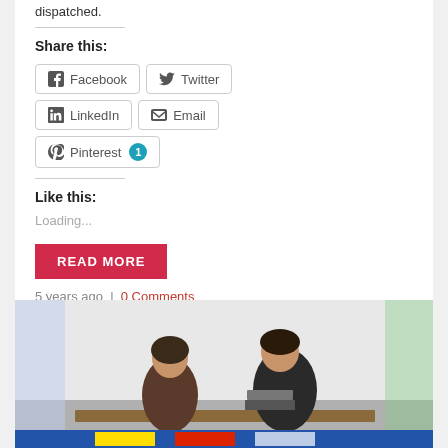dispatched.
Share this:
Facebook  Twitter  LinkedIn  Email  Pinterest 1
Like this:
Loading...
READ MORE
5 years ago | 0 Comments
[Figure (photo): Two people seated at a table, a woman on the left and a man on the right in a dark jacket, appearing to be at a panel or event.]